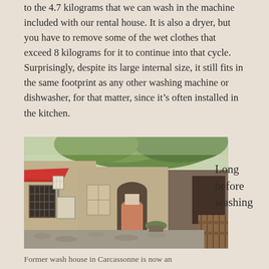to the 4.7 kilograms that we can wash in the machine included with our rental house. It is also a dryer, but you have to remove some of the wet clothes that exceed 8 kilograms for it to continue into that cycle. Surprisingly, despite its large internal size, it still fits in the same footprint as any other washing machine or dishwasher, for that matter, since it's often installed in the kitchen.
[Figure (photo): Street scene showing a former wash house in Carcassonne, with stone buildings, a red awning on the left, a lantern sign, iron-grated windows, green trees overhead, and a wooden fence on the right.]
Long before washing
Former wash house in Carcassonne is now an